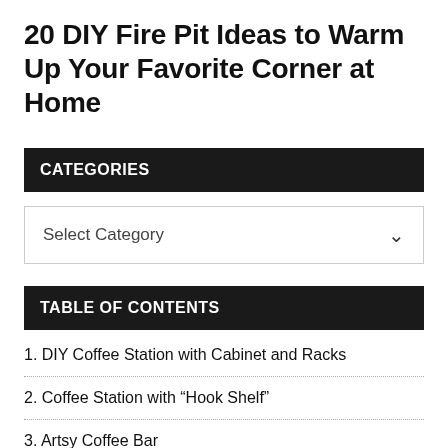20 DIY Fire Pit Ideas to Warm Up Your Favorite Corner at Home
CATEGORIES
Select Category
TABLE OF CONTENTS
1. DIY Coffee Station with Cabinet and Racks
2. Coffee Station with “Hook Shelf”
3. Artsy Coffee Bar
4. (partially visible)